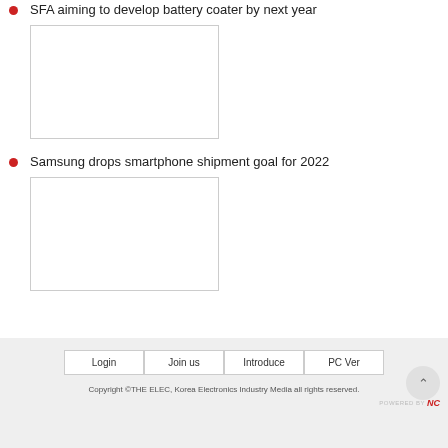SFA aiming to develop battery coater by next year
[Figure (photo): Thumbnail image placeholder for SFA battery coater article]
Samsung drops smartphone shipment goal for 2022
[Figure (photo): Thumbnail image placeholder for Samsung smartphone shipment article]
Login  Join us  Introduce  PC Ver
Copyright ©THE ELEC, Korea Electronics Industry Media all rights reserved.
POWERED BY NC